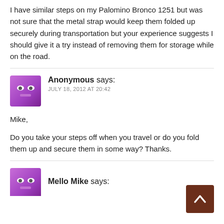I have similar steps on my Palomino Bronco 1251 but was not sure that the metal strap would keep them folded up securely during transportation but your experience suggests I should give it a try instead of removing them for storage while on the road.
Anonymous says:
JULY 18, 2012 AT 20:42
Mike,
Do you take your steps off when you travel or do you fold them up and secure them in some way? Thanks.
Mello Mike says: